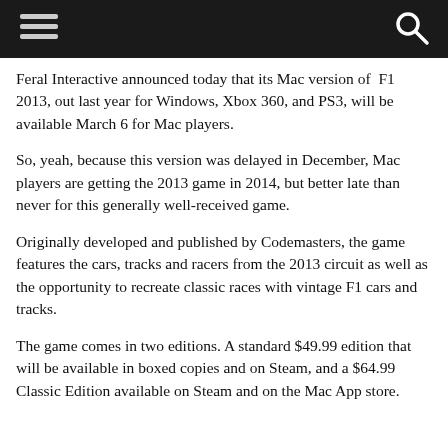[Navigation bar with hamburger menu and search icon]
Feral Interactive announced today that its Mac version of F1 2013, out last year for Windows, Xbox 360, and PS3, will be available March 6 for Mac players.
So, yeah, because this version was delayed in December, Mac players are getting the 2013 game in 2014, but better late than never for this generally well-received game.
Originally developed and published by Codemasters, the game features the cars, tracks and racers from the 2013 circuit as well as the opportunity to recreate classic races with vintage F1 cars and tracks.
The game comes in two editions. A standard $49.99 edition that will be available in boxed copies and on Steam, and a $64.99 Classic Edition available on Steam and on the Mac App store.